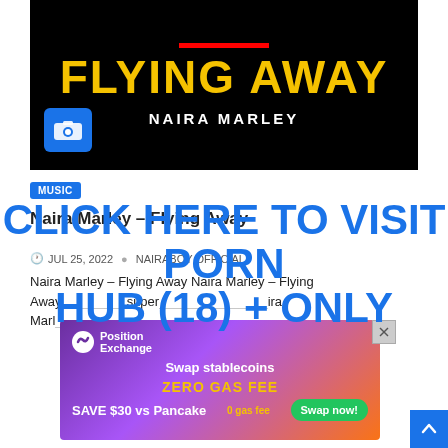[Figure (illustration): Album art for 'Flying Away' by Naira Marley — black background with yellow bold text 'FLYING AWAY', white text 'NAIRA MARLEY', a red horizontal line above, and a blue camera icon in the lower left.]
MUSIC
Naira Marley – Flying Away
JUL 25, 2022   NAIRABOY OFFICIAL
Naira Marley – Flying Away Naira Marley – Flying Away super ira Marley
[Figure (screenshot): Advertisement banner for Position Exchange: 'Swap stablecoins ZERO GAS FEE SAVE $30 vs Pancake' with a green 'Swap now!' button. Purple/orange gradient background.]